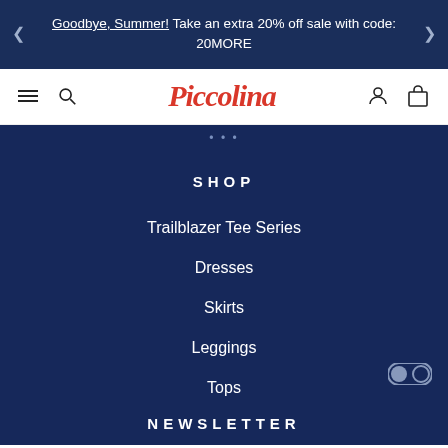Goodbye, Summer! Take an extra 20% off sale with code: 20MORE
[Figure (logo): Piccolina brand logo in red cursive script]
SHOP
Trailblazer Tee Series
Dresses
Skirts
Leggings
Tops
Gift Card
NEWSLETTER